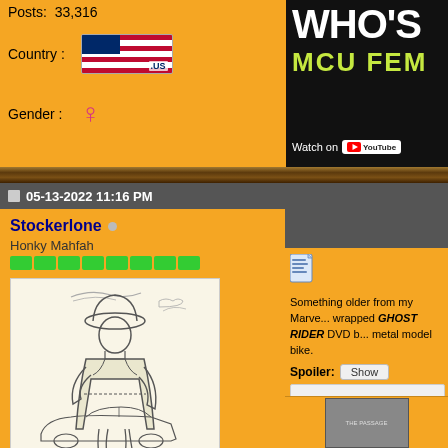Posts: 33,316
[Figure (illustration): US flag icon with .US text]
Country :
Gender :
[Figure (screenshot): YouTube thumbnail showing WHO'S MCU FEM... video]
05-13-2022 11:16 PM
Stockerlone
Honky Mahfah
[Figure (illustration): Sketch drawing of a figure in a long coat and hat standing next to a car]
Something older from my Marve... wrapped GHOST RIDER DVD ... metal model bike.
Spoiler:
[Figure (photo): DVD cover partially visible at bottom right]